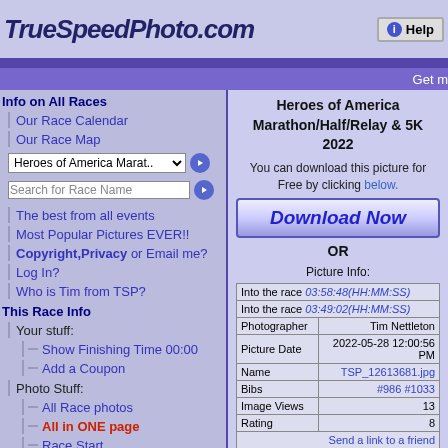TrueSpeedPhoto.com
Heroes of America Marathon/Half/Relay & 5K 2022
You can download this picture for Free by clicking below.
Download Now
OR
Picture Info:
| Into the race | 03:58:48(HH:MM:SS) |
| Into the race | 03:49:02(HH:MM:SS) |
| Photographer | Tim Nettleton |
| Picture Date | 2022-05-28 12:00:56 PM |
| Name | TSP_12613681.jpg |
| Bibs | #986 #1033 |
| Image Views | 13 |
| Rating | 8 |
| Send a link to a friend |  |
Info on All Races
Our Race Calendar
Our Race Map
Heroes of America Marat..
Search for Race Name
The best from all events
Most Popular Pictures EVER!!
Copyright,Privacy or Email me?
Log In?
Who is Tim from TSP?
This Race Info
Your stuff:
Show Finishing Time 00:00
Add a Coupon
Photo Stuff:
All Race photos
All in ONE page
Race Start
Other Stuff:
Race Final Results
Highest Admin Rated!